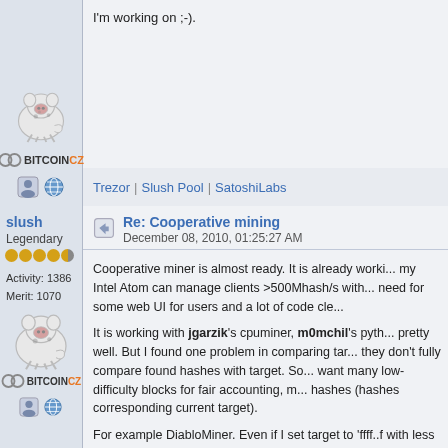I'm working on ;-).
Trezor | Slush Pool | SatoshiLabs
slush
Legendary
Activity: 1386
Merit: 1070
Re: Cooperative mining
December 08, 2010, 01:25:27 AM
Cooperative miner is almost ready. It is already worki... my Intel Atom can manage clients >500Mhash/s with... need for some web UI for users and a lot of code cle...
It is working with jgarzik's cpuminer, m0mchil's pyth... pretty well. But I found one problem in comparing tar... they don't fully compare found hashes with target. So... want many low-difficulty blocks for fair accounting, m... hashes (hashes corresponding current target).
For example DiabloMiner. Even if I set target to 'ffff..f with less than eight zeros on the end. Am I wrong or... correctly with low-difficulty targets?
When I set target with eight zeros on the end (so all t... target), computer with ~2mhash/s gives around 2 blo... for fair short-term distribution.